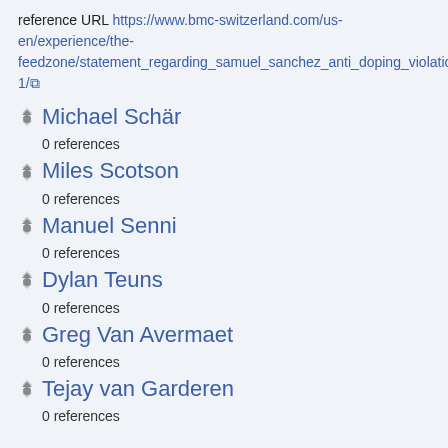reference URL https://www.bmc-switzerland.com/us-en/experience/the-feedzone/statement_regarding_samuel_sanchez_anti_doping_violation-1/
Michael Schär
0 references
Miles Scotson
0 references
Manuel Senni
0 references
Dylan Teuns
0 references
Greg Van Avermaet
0 references
Tejay van Garderen
0 references